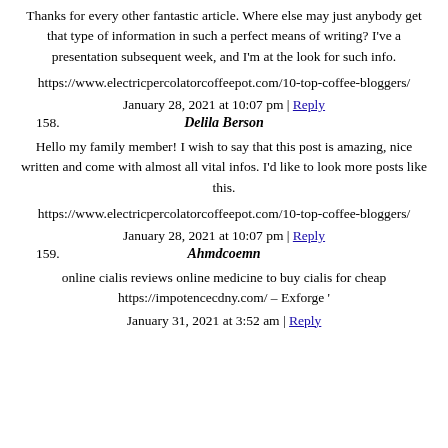Thanks for every other fantastic article. Where else may just anybody get that type of information in such a perfect means of writing? I've a presentation subsequent week, and I'm at the look for such info.
https://www.electricpercolatorcoffeepot.com/10-top-coffee-bloggers/
January 28, 2021 at 10:07 pm | Reply
158. Delila Berson
Hello my family member! I wish to say that this post is amazing, nice written and come with almost all vital infos. I'd like to look more posts like this.
https://www.electricpercolatorcoffeepot.com/10-top-coffee-bloggers/
January 28, 2021 at 10:07 pm | Reply
159. Ahmdcoemn
online cialis reviews online medicine to buy cialis for cheap https://impotencecdny.com/ – Exforge '
January 31, 2021 at 3:52 am | Reply